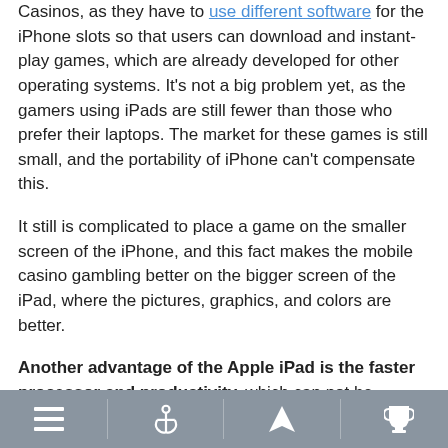Casinos, as they have to use different software for the iPhone slots so that users can download and instant-play games, which are already developed for other operating systems. It's not a big problem yet, as the gamers using iPads are still fewer than those who prefer their laptops. The market for these games is still small, and the portability of iPhone can't compensate this.
It still is complicated to place a game on the smaller screen of the iPhone, and this fact makes the mobile casino gambling better on the bigger screen of the iPad, where the pictures, graphics, and colors are better.
Another advantage of the Apple iPad is the faster processor and productivity, which can not be compared to any smartphone, iPhone or a different brand. The iPads are very wide-spread in the world – millions of gamblers are using their portable devices to play iOS slots. Choosing iPad for playing is only reasonable if you own both of the iOS devices – iPad and iPhone. However, Apple's strict policy against
[navigation bar with menu, anchor, arrow, trophy icons]